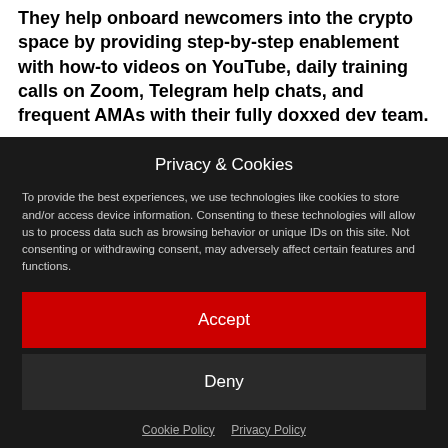They help onboard newcomers into the crypto space by providing step-by-step enablement with how-to videos on YouTube, daily training calls on Zoom, Telegram help chats, and frequent AMAs with their fully doxxed dev team.
Privacy & Cookies
To provide the best experiences, we use technologies like cookies to store and/or access device information. Consenting to these technologies will allow us to process data such as browsing behavior or unique IDs on this site. Not consenting or withdrawing consent, may adversely affect certain features and functions.
Accept
Deny
Cookie Policy   Privacy Policy